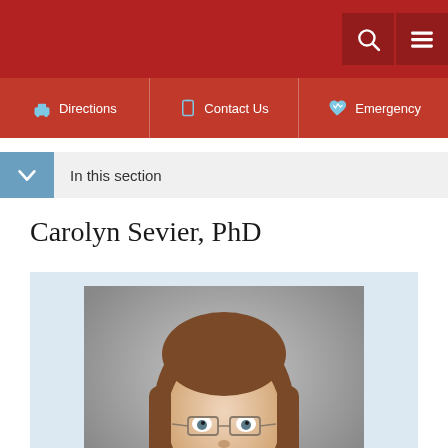Navigation header with search and menu icons
Directions | Contact Us | Emergency
In this section
Carolyn Sevier, PhD
[Figure (photo): Professional headshot of Carolyn Sevier, PhD — a woman with long brown hair and glasses, photographed against a gray studio background]